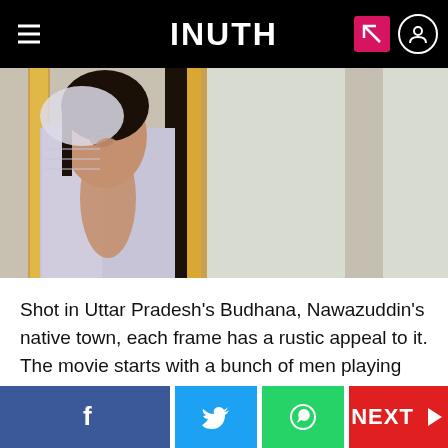INUTH
[Figure (photo): A woman in a light dupatta/scarf peers through a partially open wooden door, looking directly at the camera with a serious expression. The background shows wooden door frames and a light-colored wall.]
Shot in Uttar Pradesh's Budhana, Nawazuddin's native town, each frame has a rustic appeal to it. The movie starts with a bunch of men playing cards with one of them casually talking about his wife in a derogatory manner. As Imtiaz (Jaibind Kumar)